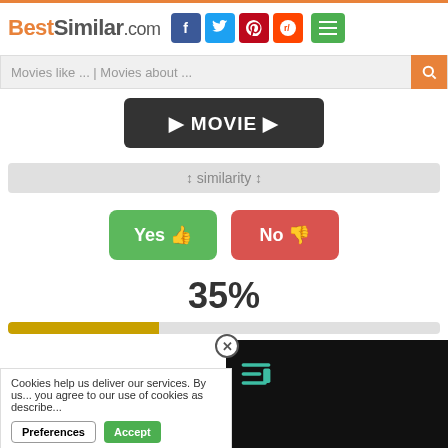BestSimilar.com
Movies like ... | Movies about ...
[Figure (screenshot): Dark button with play arrows and text MOVIE]
↕ similarity ↕
[Figure (screenshot): Green Yes thumbs-up button and red No thumbs-down button]
35%
[Figure (infographic): Progress bar showing 35% filled in golden/amber color]
Cookies help us deliver our services. By us... you agree to our use of cookies as describe...
Preferences  Accept